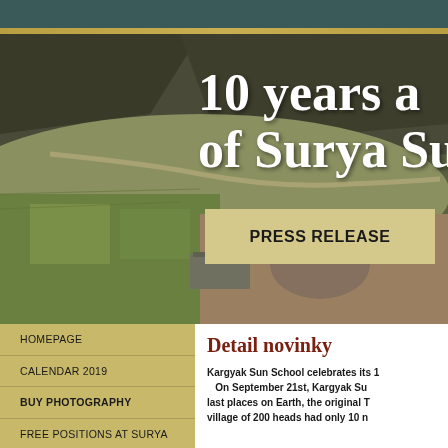[Figure (photo): Aerial/landscape photograph of a mountain valley with green fields, a winding road/river, and rocky terrain. White bold serif text overlaid reads '10 years a of Surya Su'. A beige button labeled 'PRESS RELEASE' is overlaid on the image.]
10 years a of Surya Su
PRESS RELEASE
HOMEPAGE
CALENDAR 2019
BUY PHOTOGRAPHY
FREE POSITIONS AT SURYA
Detail novinky
Kargyak Sun School celebrates its 1 On September 21st, Kargyak Su last places on Earth, the original T village of 200 heads had only 10 n